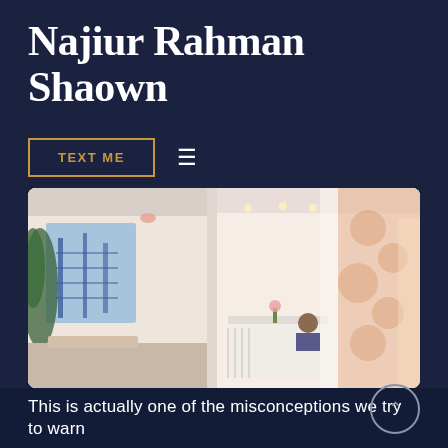Najiur Rahman Shaown
TEXT ME  ≡
[Figure (photo): Interior photo of a modern office lobby or co-working space, showing bright white interiors, plants, reception desk with a person seated behind it, and decorative patterned wall on the right side.]
New features will help keep your data on your device
This is actually one of the misconceptions we try to warn